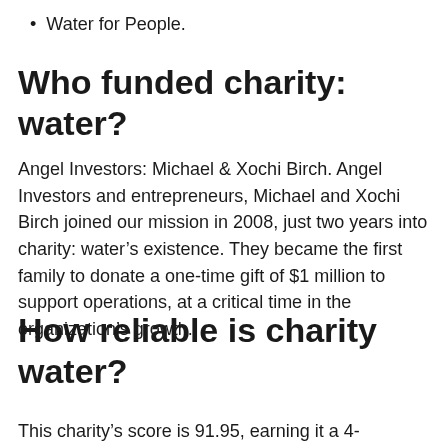Water for People.
Who funded charity: water?
Angel Investors: Michael & Xochi Birch. Angel Investors and entrepreneurs, Michael and Xochi Birch joined our mission in 2008, just two years into charity: water's existence. They became the first family to donate a one-time gift of $1 million to support operations, at a critical time in the organization's growth.
How reliable is charity water?
This charity's score is 91.95, earning it a 4-